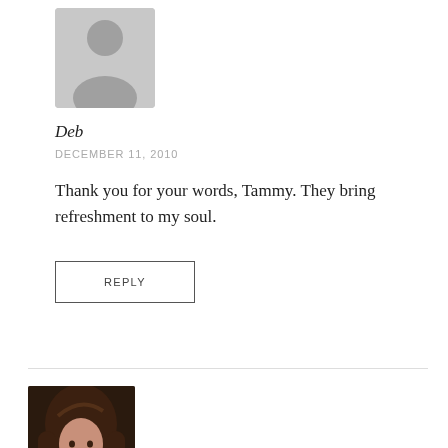[Figure (photo): Gray placeholder avatar silhouette for user Deb]
Deb
DECEMBER 11, 2010
Thank you for your words, Tammy. They bring refreshment to my soul.
REPLY
[Figure (photo): Profile photo of a smiling woman with dark hair]